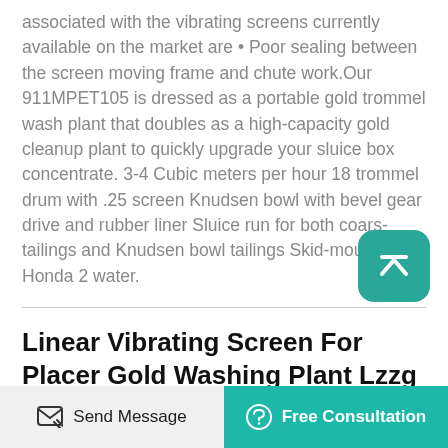associated with the vibrating screens currently available on the market are • Poor sealing between the screen moving frame and chute work.Our 911MPET105 is dressed as a portable gold trommel wash plant that doubles as a high-capacity gold cleanup plant to quickly upgrade your sluice box concentrate. 3-4 Cubic meters per hour 18 trommel drum with .25 screen Knudsen bowl with bevel gear drive and rubber liner Sluice run for both coarse tailings and Knudsen bowl tailings Skid-mounted Honda 2 water.
Linear Vibrating Screen For Placer Gold Washing Plant Lzzg
Screening Equipment for Sale Buy and sell unused